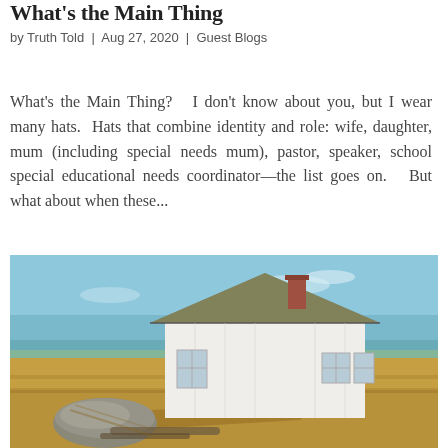What's the Main Thing
by Truth Told | Aug 27, 2020 | Guest Blogs
What's the Main Thing?   I don't know about you, but I wear many hats.  Hats that combine identity and role: wife, daughter, mum (including special needs mum), pastor, speaker, school special educational needs coordinator—the list goes on.   But what about when these...
[Figure (photo): A small white clapboard house with a mossy roof and brick chimney, set in an open golden field with a blue sky and distant ocean or water in the background. A large rock sits in the foreground.]